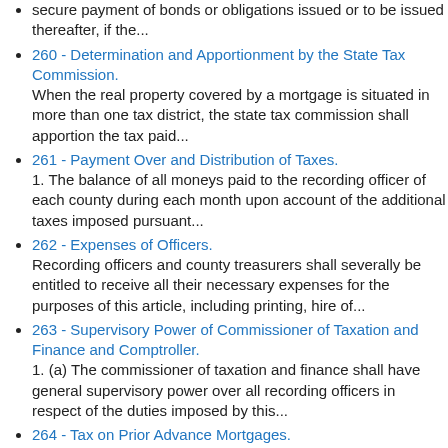secure payment of bonds or obligations issued or to be issued thereafter, if the...
260 - Determination and Apportionment by the State Tax Commission.
When the real property covered by a mortgage is situated in more than one tax district, the state tax commission shall apportion the tax paid...
261 - Payment Over and Distribution of Taxes.
1. The balance of all moneys paid to the recording officer of each county during each month upon account of the additional taxes imposed pursuant...
262 - Expenses of Officers.
Recording officers and county treasurers shall severally be entitled to receive all their necessary expenses for the purposes of this article, including printing, hire of...
263 - Supervisory Power of Commissioner of Taxation and Finance and Comptroller.
1. (a) The commissioner of taxation and finance shall have general supervisory power over all recording officers in respect of the duties imposed by this...
264 - Tax on Prior Advance Mortgages.
Whenever any part of the amount of the principal indebtedness which is or under any contingency may be